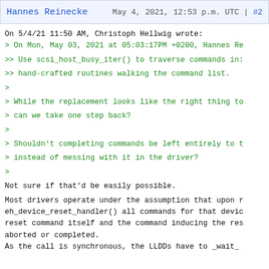Hannes Reinecke    May 4, 2021, 12:53 p.m. UTC | #2
On 5/4/21 11:50 AM, Christoph Hellwig wrote:
> On Mon, May 03, 2021 at 05:03:17PM +0200, Hannes Re

>> Use scsi_host_busy_iter() to traverse commands in:

>> hand-crafted routines walking the command list.

>

> While the replacement looks like the right thing to

> can we take one step back?

>

> Shouldn't completing commands be left entirely to t

> instead of messing with it in the driver?

>

Not sure if that'd be easily possible.

Most drivers operate under the assumption that upon r
eh_device_reset_handler() all commands for that devic
reset command itself and the command inducing the res
aborted or completed.
As the call is synchronous, the LLDDs have to _wait_